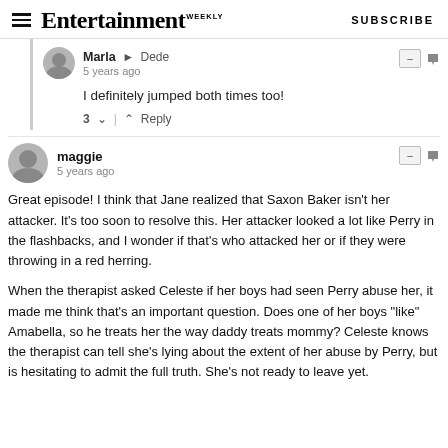Entertainment Weekly — SUBSCRIBE
Marla → Dede
5 years ago
I definitely jumped both times too!
3 ↑ | ↓  Reply
maggie
5 years ago
Great episode! I think that Jane realized that Saxon Baker isn't her attacker. It's too soon to resolve this. Her attacker looked a lot like Perry in the flashbacks, and I wonder if that's who attacked her or if they were throwing in a red herring.

When the therapist asked Celeste if her boys had seen Perry abuse her, it made me think that's an important question. Does one of her boys "like" Amabella, so he treats her the way daddy treats mommy? Celeste knows the therapist can tell she's lying about the extent of her abuse by Perry, but is hesitating to admit the full truth. She's not ready to leave yet.